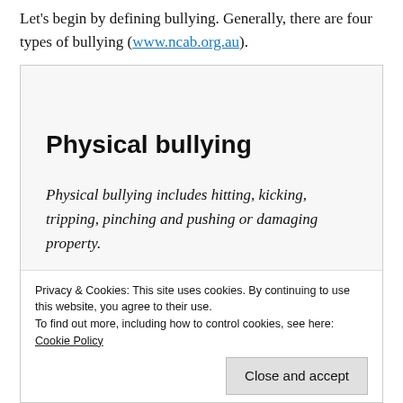Let's begin by defining bullying. Generally, there are four types of bullying (www.ncab.org.au).
Physical bullying
Physical bullying includes hitting, kicking, tripping, pinching and pushing or damaging property.
Verbal bullying
Verbal bullying includes name calling, insults,
Covert or hidden bullying
Privacy & Cookies: This site uses cookies. By continuing to use this website, you agree to their use. To find out more, including how to control cookies, see here: Cookie Policy